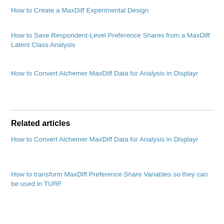How to Create a MaxDiff Experimental Design
How to Save Respondent-Level Preference Shares from a MaxDiff Latent Class Analysis
How to Convert Alchemer MaxDiff Data for Analysis in Displayr
Related articles
How to Convert Alchemer MaxDiff Data for Analysis in Displayr
How to transform MaxDiff Preference Share Variables so they can be used in TURF